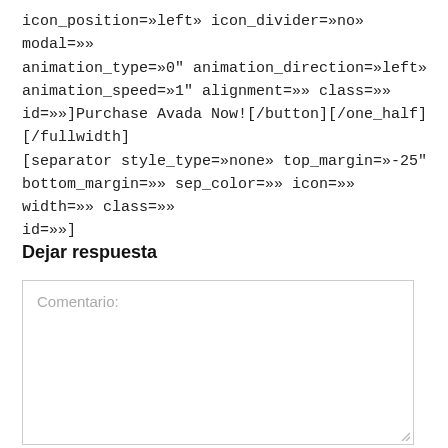icon_position=»left» icon_divider=»no» modal=»» animation_type=»0" animation_direction=»left» animation_speed=»1" alignment=»» class=»» id=»»]Purchase Avada Now![/button][/one_half][/fullwidth][separator style_type=»none» top_margin=»-25" bottom_margin=»» sep_color=»» icon=»» width=»» class=»» id=»»]
Dejar respuesta
Comentario: